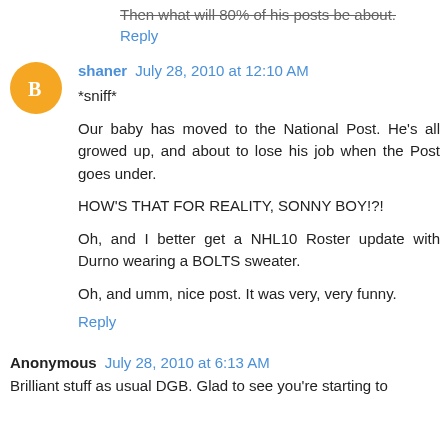Then what will 80% of his posts be about.
Reply
shaner  July 28, 2010 at 12:10 AM
*sniff*

Our baby has moved to the National Post. He's all growed up, and about to lose his job when the Post goes under.

HOW'S THAT FOR REALITY, SONNY BOY!?!

Oh, and I better get a NHL10 Roster update with Durno wearing a BOLTS sweater.

Oh, and umm, nice post. It was very, very funny.
Reply
Anonymous  July 28, 2010 at 6:13 AM
Brilliant stuff as usual DGB. Glad to see you're starting to